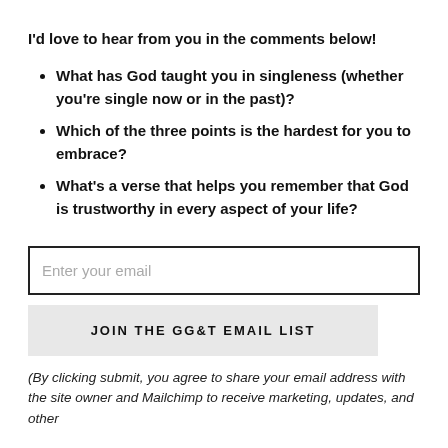I'd love to hear from you in the comments below!
What has God taught you in singleness (whether you're single now or in the past)?
Which of the three points is the hardest for you to embrace?
What's a verse that helps you remember that God is trustworthy in every aspect of your life?
Enter your email
JOIN THE GG&T EMAIL LIST
(By clicking submit, you agree to share your email address with the site owner and Mailchimp to receive marketing, updates, and other